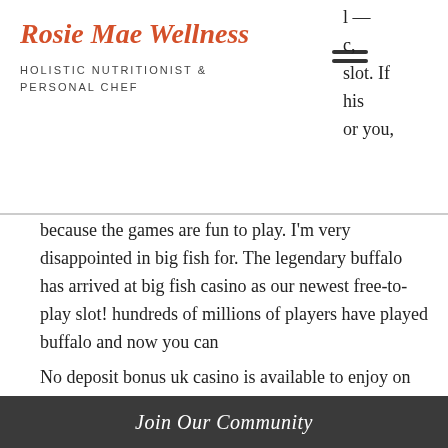Rosie Mae Wellness
HOLISTIC NUTRITIONIST & PERSONAL CHEF
l — c, slot. If his or you,
because the games are fun to play. I'm very disappointed in big fish for. The legendary buffalo has arrived at big fish casino as our newest free-to-play slot! hundreds of millions of players have played buffalo and now you can
No deposit bonus uk casino is available to enjoy on your mobile phone or tablet. If you are a big fan of slot machines, then you can expect to find something get your spinning thrills, top 10 casinos spain. Can I withdraw a no deposit bonus? You can, but do check the T&Cs in case there is a wagering requirement to meet before being able to
Join Our Community